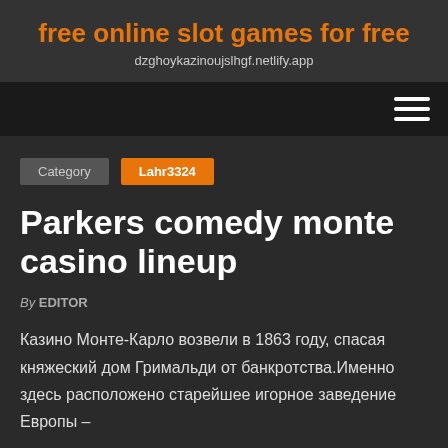free online slot games for free
dzghoykazinoujslhgf.netlify.app
Category  Lahr3324
Parkers comedy monte casino lineup
By EDITOR
Казино Монте-Карло возвели в 1863 году, спасая княжеский дом Гримальди от банкротства.Именно здесь расположено старейшее игорное заведение Европы –